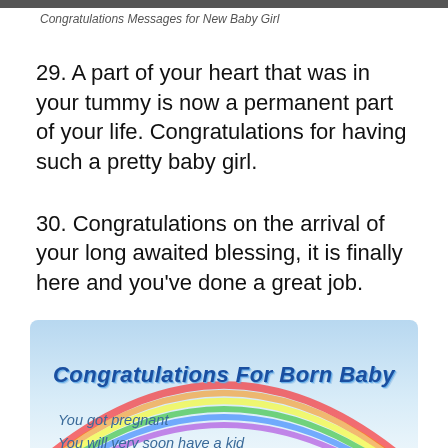Congratulations Messages for New Baby Girl
29. A part of your heart that was in your tummy is now a permanent part of your life. Congratulations for having such a pretty baby girl.
30. Congratulations on the arrival of your long awaited blessing, it is finally here and you've done a great job.
[Figure (illustration): Greeting card with rainbow, clouds, a bird, colorful flowers, blue sky background. Title reads 'Congratulations For Born Baby'. Lines: 'You got pregnant', 'You will very soon have a kid', 'Which will make life colorful', 'Congratulations My sweet heart']